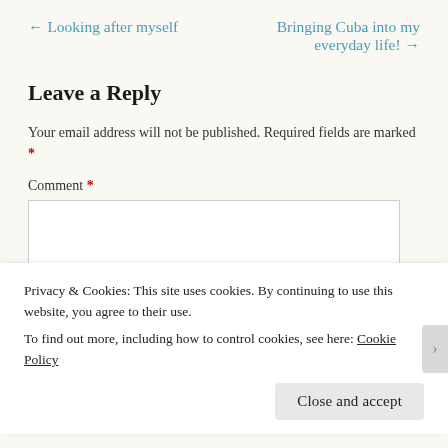← Looking after myself
Bringing Cuba into my everyday life! →
Leave a Reply
Your email address will not be published. Required fields are marked *
Comment *
Privacy & Cookies: This site uses cookies. By continuing to use this website, you agree to their use.
To find out more, including how to control cookies, see here: Cookie Policy
Close and accept